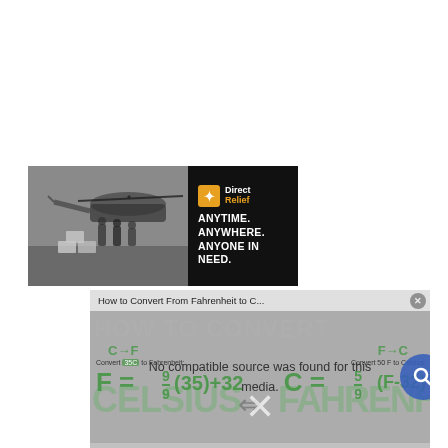[Figure (infographic): Direct Relief charity advertisement banner showing military personnel unloading boxes from a helicopter with text 'ANYTIME. ANYWHERE. ANYONE IN NEED.' on a black background]
[Figure (screenshot): Video player showing 'How to Convert From Fahrenheit to C...' with 'No compatible source was found for this media.' error message overlaid on a temperature conversion infographic background showing CELSIUS and FAHRENHEIT with C->F and F->C formulas including F=9/9(35)+32 and C=5/9(F-32)]